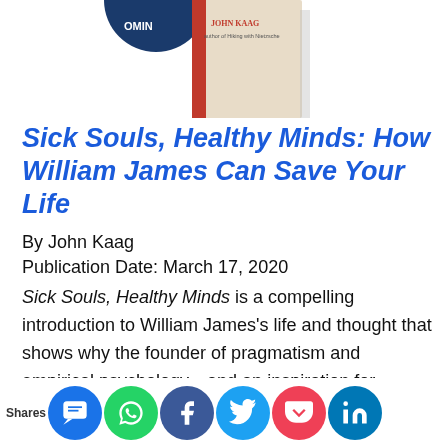[Figure (photo): Book cover of 'Sick Souls, Healthy Minds' by John Kaag, partially cropped at the top]
Sick Souls, Healthy Minds: How William James Can Save Your Life
By John Kaag
Publication Date: March 17, 2020
Sick Souls, Healthy Minds is a compelling introduction to William James's life and thought that shows why the founder of pragmatism and empirical psychology—and an inspiration for Alcoholics Anonymous—can still speak so directly and profoundly to anyone struggling to ke... wo... vi... w... ma...
[Figure (infographic): Social share bar at the bottom with share icons: SMS, WhatsApp, Facebook, Twitter, Pocket, LinkedIn]